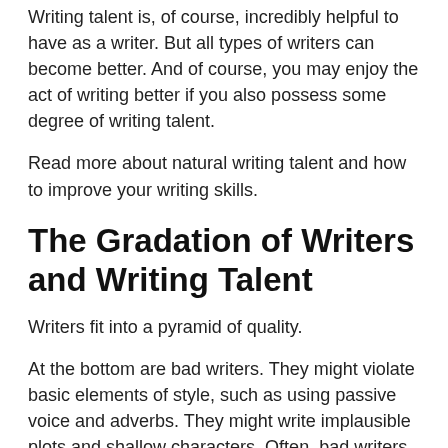Writing talent is, of course, incredibly helpful to have as a writer. But all types of writers can become better. And of course, you may enjoy the act of writing better if you also possess some degree of writing talent.
Read more about natural writing talent and how to improve your writing skills.
The Gradation of Writers and Writing Talent
Writers fit into a pyramid of quality.
At the bottom are bad writers. They might violate basic elements of style, such as using passive voice and adverbs. They might write implausible plots and shallow characters. Often, bad writers don't know that they're bad.
Next level up are competent writers, a slightly smaller but still large group. These people seem more